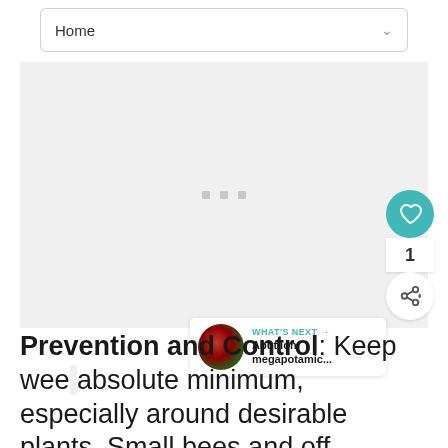Home
[Figure (screenshot): Large empty light gray content area with three small gray square dots in the center, representing a loading or placeholder image area]
[Figure (infographic): Floating action buttons: teal heart/like button with count 1, and a share button]
[Figure (infographic): What's Next panel showing a plant thumbnail and text 'Abutilon megapotamic...']
Prevention and Control: Keep weeds at an absolute minimum, especially around desirable plants. Small bees and off...